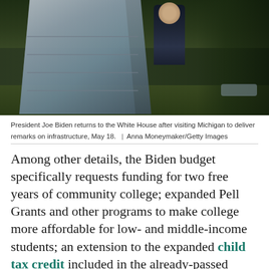[Figure (photo): President Joe Biden descending stairs from a helicopter on the White House lawn, surrounded by green trees and summer foliage.]
President Joe Biden returns to the White House after visiting Michigan to deliver remarks on infrastructure, May 18.  |  Anna Moneymaker/Getty Images
Among other details, the Biden budget specifically requests funding for two free years of community college; expanded Pell Grants and other programs to make college more affordable for low- and middle-income students; an extension to the expanded child tax credit included in the already-passed American Rescue Plan, which experts have said could cut child poverty in half; and universal paid family and medical leave programs “that would bring